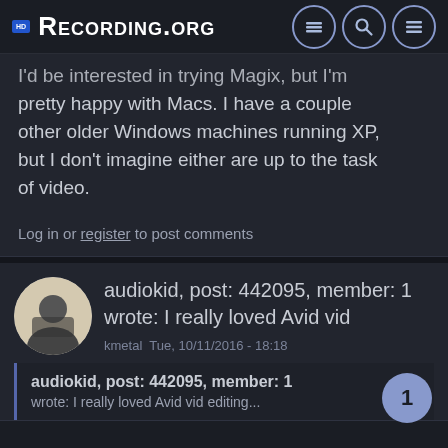Recording.org
I'd be interested in trying Magix, but I'm pretty happy with Macs. I have a couple other older Windows machines running XP, but I don't imagine either are up to the task of video.
Log in or register to post comments
audiokid, post: 442095, member: 1 wrote: I really loved Avid vid
kmetal Tue, 10/11/2016 - 18:18
audiokid, post: 442095, member: 1